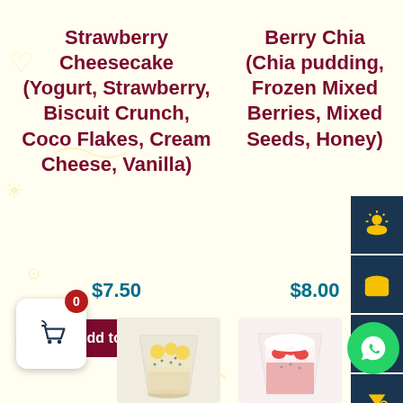Strawberry Cheesecake (Yogurt, Strawberry, Biscuit Crunch, Coco Flakes, Cream Cheese, Vanilla)
$7.50
Add to cart
Berry Chia (Chia pudding, Frozen Mixed Berries, Mixed Seeds, Honey)
$8.00
Add to cart
[Figure (screenshot): Food ordering website screenshot with two product listings, side navigation icons, cart widget and WhatsApp button]